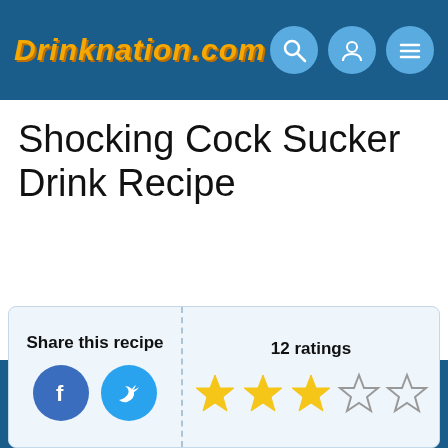DRINKNATION.COM
Shocking Cock Sucker Drink Recipe
Share this recipe
12 ratings